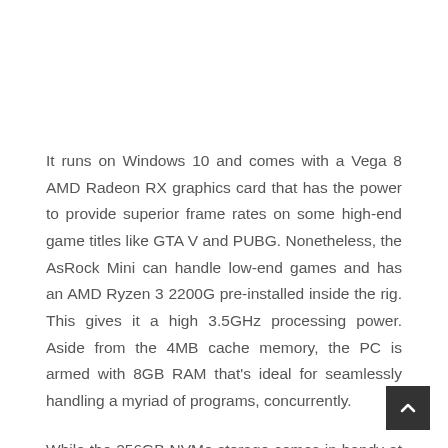It runs on Windows 10 and comes with a Vega 8 AMD Radeon RX graphics card that has the power to provide superior frame rates on some high-end game titles like GTA V and PUBG. Nonetheless, the AsRock Mini can handle low-end games and has an AMD Ryzen 3 2200G pre-installed inside the rig. This gives it a high 3.5GHz processing power. Aside from the 4MB cache memory, the PC is armed with 8GB RAM that's ideal for seamlessly handling a myriad of programs, concurrently.
While the 256GB NVMe storage comes in handy at first, it may prove insufficient over time. Therefore, investing in